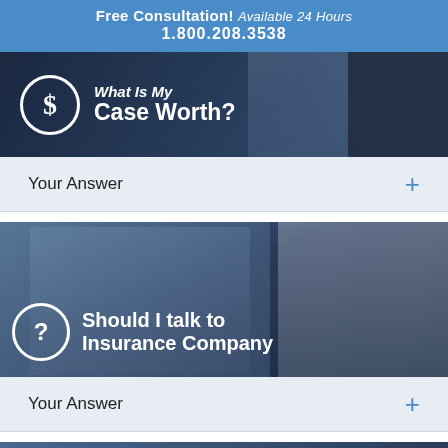Free Consultation! Available 24 Hours
1.800.208.3538
[Figure (photo): Dark blue-tinted banner image with a dollar sign circle icon and text 'What Is My Case Worth?' overlaid, with a gavel visible in the background]
Your Answer
[Figure (photo): Blue-tinted photo of a stressed woman sitting at a table with her hand on her forehead, with a question mark circle icon and text 'Should I talk to Insurance Company' overlaid]
Your Answer
[Figure (photo): Partial view of a third blue-tinted card at the bottom of the page]